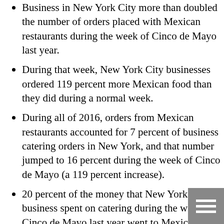Business in New York City more than doubled the number of orders placed with Mexican restaurants during the week of Cinco de Mayo last year.
During that week, New York City businesses ordered 119 percent more Mexican food than they did during a normal week.
During all of 2016, orders from Mexican restaurants accounted for 7 percent of business catering orders in New York, and that number jumped to 16 percent during the week of Cinco de Mayo (a 119 percent increase).
20 percent of the money that New York City business spent on catering during the week of Cinco de Mayo last year went to Mexican restaurants. That's more than twice the amount that New York City business spend on Mexican food during a normal week. Throughout all of last year, 8 percent of total